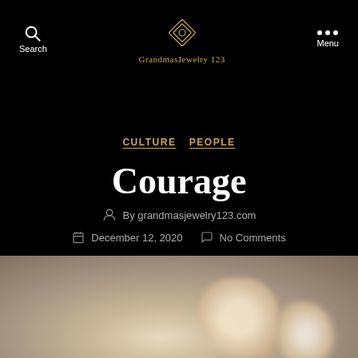Search  GrandmasJewelry 123  Menu
CULTURE  PEOPLE
Courage
By grandmasjewelry123.com
December 12, 2020   No Comments
[Figure (photo): Blurred close-up photo of a jewelry piece (appears to be a ring or small ornament) on a textured beige/grey surface]